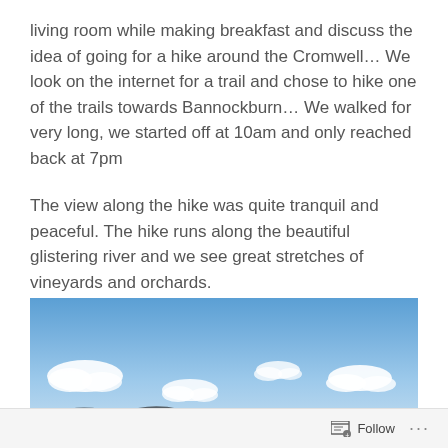living room while making breakfast and discuss the idea of going for a hike around the Cromwell… We look on the internet for a trail and chose to hike one of the trails towards Bannockburn… We walked for very long, we started off at 10am and only reached back at 7pm
The view along the hike was quite tranquil and peaceful. The hike runs along the beautiful glistering river and we see great stretches of vineyards and orchards.
[Figure (photo): Landscape photo showing a blue sky with white clouds and dark hills or mountains along the bottom edge]
Follow ···